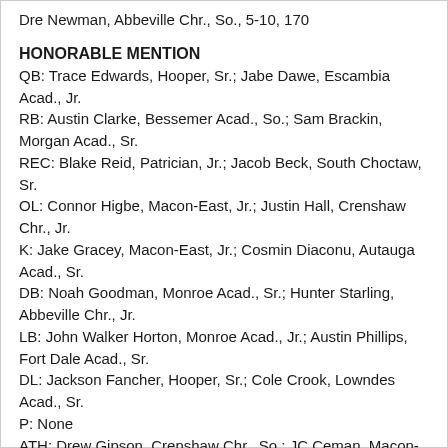Dre Newman, Abbeville Chr., So., 5-10, 170
HONORABLE MENTION
QB: Trace Edwards, Hooper, Sr.; Jabe Dawe, Escambia Acad., Jr.
RB: Austin Clarke, Bessemer Acad., So.; Sam Brackin, Morgan Acad., Sr.
REC: Blake Reid, Patrician, Jr.; Jacob Beck, South Choctaw, Sr.
OL: Connor Higbe, Macon-East, Jr.; Justin Hall, Crenshaw Chr., Jr.
K: Jake Gracey, Macon-East, Jr.; Cosmin Diaconu, Autauga Acad., Sr.
DB: Noah Goodman, Monroe Acad., Sr.; Hunter Starling, Abbeville Chr., Jr.
LB: John Walker Horton, Monroe Acad., Jr.; Austin Phillips, Fort Dale Acad., Sr.
DL: Jackson Fancher, Hooper, Sr.; Cole Crook, Lowndes Acad., Sr.
P: None
ATH: Drew Gipson, Crenshaw Chr., So.; JC Ceman, Macon-East, Jr.,
COACH OF THE YEAR
Glynn Lott, Macon-East